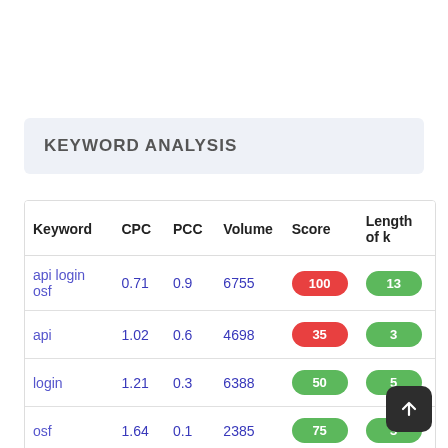KEYWORD ANALYSIS
| Keyword | CPC | PCC | Volume | Score | Length of k |
| --- | --- | --- | --- | --- | --- |
| api login osf | 0.71 | 0.9 | 6755 | 100 | 13 |
| api | 1.02 | 0.6 | 4698 | 35 | 3 |
| login | 1.21 | 0.3 | 6388 | 50 | 5 |
| osf | 1.64 | 0.1 | 2385 | 75 | 3 |